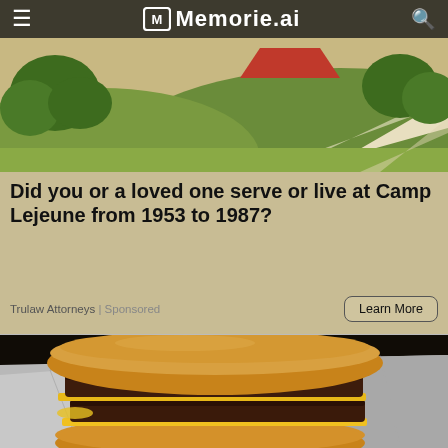≡  Memorie.ai  🔍
[Figure (illustration): Illustrated landscape scene with green trees, red barn rooftop, rolling hills in green and tan tones — banner image for Memorie.ai website]
Did you or a loved one serve or live at Camp Lejeune from 1953 to 1987?
Trulaw Attorneys | Sponsored
Learn More
[Figure (photo): Close-up photo of a double cheeseburger with two beef patties and melted yellow cheese on a toasted bun, wrapped in aluminum foil, placed on a dark background]